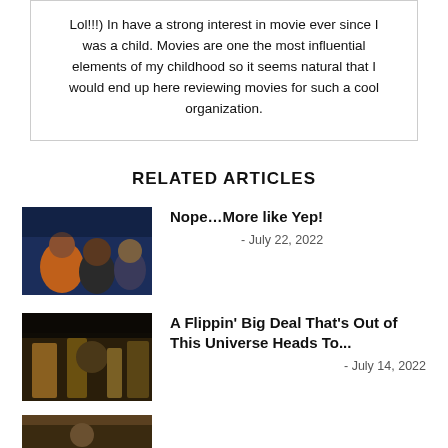Lol!!!) In have a strong interest in movie ever since I was a child. Movies are one the most influential elements of my childhood so it seems natural that I would end up here reviewing movies for such a cool organization.
RELATED ARTICLES
[Figure (photo): Movie still showing several people looking upward, dark blue background]
Nope…More like Yep!
- July 22, 2022
[Figure (photo): Movie still showing characters in a dark fantasy/sci-fi setting]
A Flippin' Big Deal That's Out of This Universe Heads To...
- July 14, 2022
[Figure (photo): Partial movie thumbnail at bottom of page]